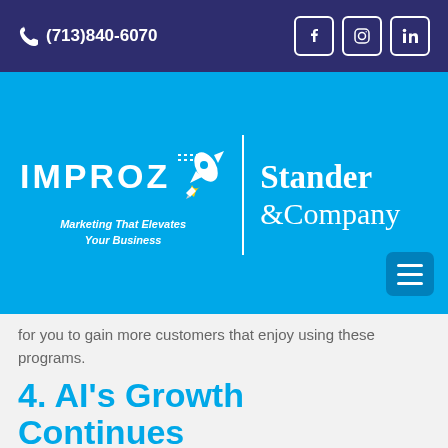(713)840-6070
[Figure (logo): IMPROZ rocket logo with tagline 'Marketing That Elevates Your Business' and Stander & Company logo, on bright blue background with hamburger menu]
for you to gain more customers that enjoy using these programs.
4. AI's Growth Continues
Artificial intelligence is becoming more prominent as